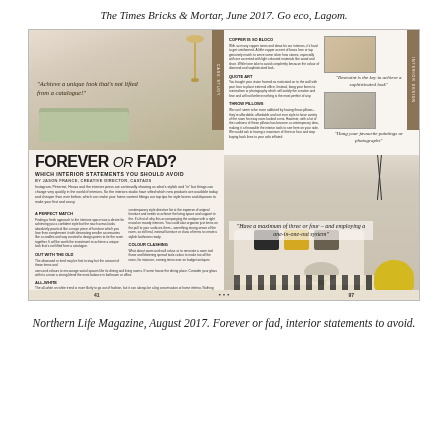The Times Bricks & Mortar, June 2017. Go eco, Lagom.
[Figure (photo): Magazine spread showing two pages: left page has a Scandinavian-style living room interior photo and article titled 'Forever or Fad? Which Interior Statements You Should Avoid', right page has text columns with interior tips and a photo of a sofa with yellow cushions and pouf.]
Northern Life Magazine, August 2017. Forever or fad, interior statements to avoid.